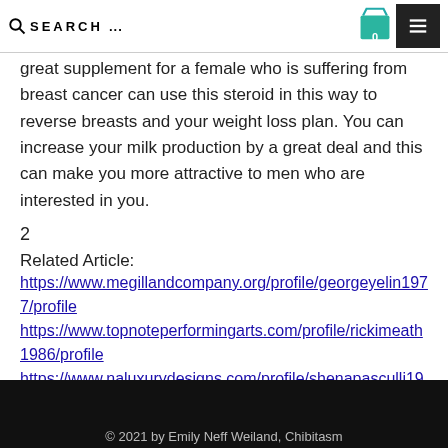SEARCH 0 [menu]
great supplement for a female who is suffering from breast cancer can use this steroid in this way to reverse breasts and your weight loss plan. You can increase your milk production by a great deal and this can make you more attractive to men who are interested in you.
2
Related Article:
https://www.megillandcompany.org/profile/georgeyelin1977/profile
https://www.topnoteperformingarts.com/profile/rickimeath1986/profile
https://www.naluxurydesigns.com/profile/shenapasculli1981/profile
https://www.teamlrf.co.uk/profile/sterlingdrungo1970/profile
© 2021 by Emily Neff Weiland, Chibitasm